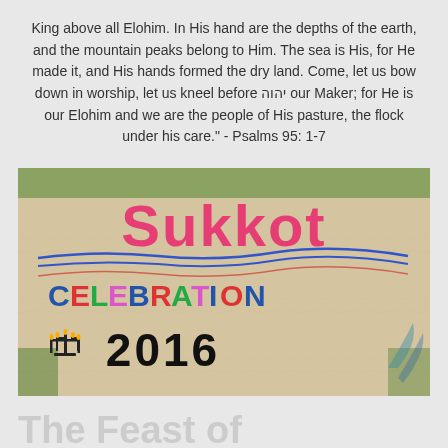King above all Elohim. In His hand are the depths of the earth, and the mountain peaks belong to Him. The sea is His, for He made it, and His hands formed the dry land. Come, let us bow down in worship, let us kneel before יהוה our Maker; for He is our Elohim and we are the people of His pasture, the flock under his care." - Psalms 95: 1-7
[Figure (photo): A painted wooden sign reading 'Sukkot CELEBRATION 2016' with colorful lettering and a menorah symbol, photographed outdoors with grass in background.]
The Feast of